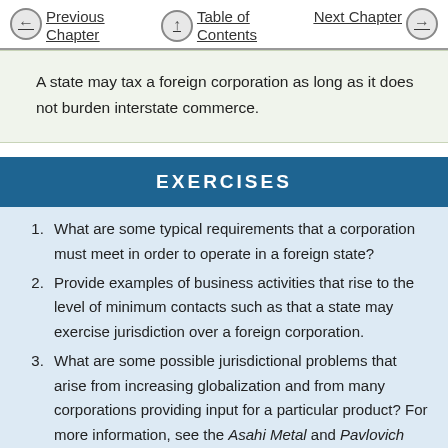Previous Chapter   Table of Contents   Next Chapter
A state may tax a foreign corporation as long as it does not burden interstate commerce.
EXERCISES
What are some typical requirements that a corporation must meet in order to operate in a foreign state?
Provide examples of business activities that rise to the level of minimum contacts such as that a state may exercise jurisdiction over a foreign corporation.
What are some possible jurisdictional problems that arise from increasing globalization and from many corporations providing input for a particular product? For more information, see the Asahi Metal and Pavlovich court